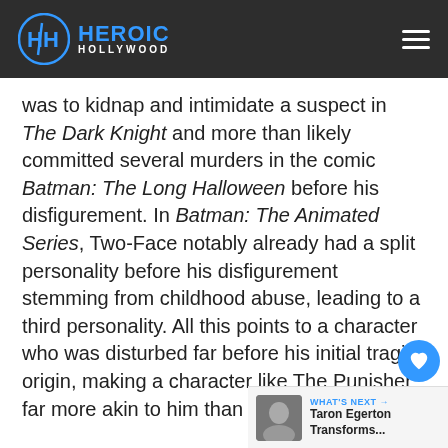Heroic Hollywood
was to kidnap and intimidate a suspect in The Dark Knight and more than likely committed several murders in the comic Batman: The Long Halloween before his disfigurement. In Batman: The Animated Series, Two-Face notably already had a split personality before his disfigurement stemming from childhood abuse, leading to a third personality. All this points to a character who was disturbed far before his initial tragic origin, making a character like The Punisher far more akin to him than we give him cre...